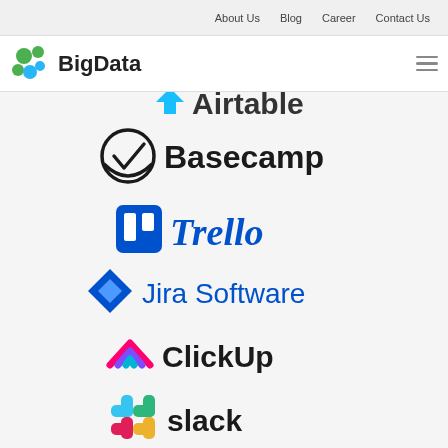About Us   Blog   Career   Contact Us
[Figure (logo): BigData logo with green and blue circular icon]
[Figure (logo): Airtable logo (partially visible, cut off at top)]
[Figure (logo): Basecamp logo with checkmark icon]
[Figure (logo): Trello logo in blue]
[Figure (logo): Jira Software logo with blue diamond icon]
[Figure (logo): ClickUp logo with colorful chevron icon]
[Figure (logo): Slack logo with colorful plus icon]